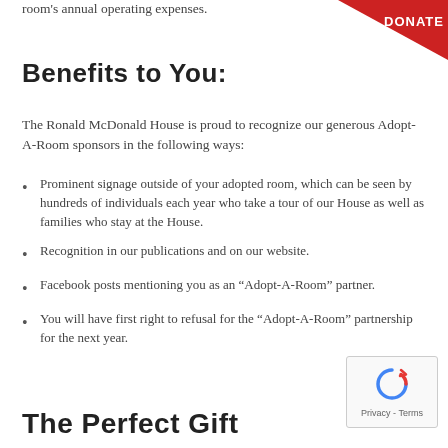room's annual operating expenses.
Benefits to You:
The Ronald McDonald House is proud to recognize our generous Adopt-A-Room sponsors in the following ways:
Prominent signage outside of your adopted room, which can be seen by hundreds of individuals each year who take a tour of our House as well as families who stay at the House.
Recognition in our publications and on our website.
Facebook posts mentioning you as an “Adopt-A-Room” partner.
You will have first right to refusal for the “Adopt-A-Room” partnership for the next year.
The Perfect Gift